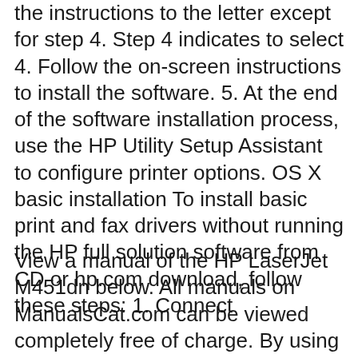the instructions to the letter except for step 4. Step 4 indicates to select 4. Follow the on-screen instructions to install the software. 5. At the end of the software installation process, use the HP Utility Setup Assistant to configure printer options. OS X basic installation To install basic print and fax drivers without running the HP full solution software from CD or hp.com download, follow these steps: 1. Connect
View a manual of the HP LaserJet M451dn below. All manuals on ManualsCat.com can be viewed completely free of charge. By using the 'Select a language' button, you can choose the language of the manual you